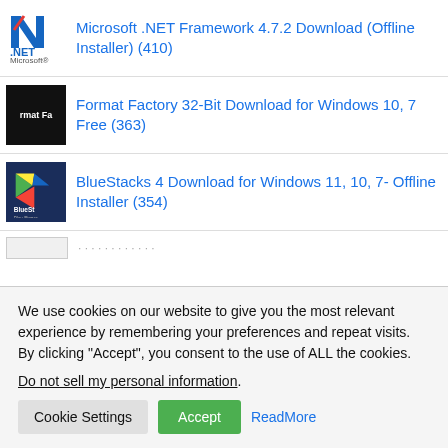Microsoft .NET Framework 4.7.2 Download (Offline Installer) (410)
Format Factory 32-Bit Download for Windows 10, 7 Free (363)
BlueStacks 4 Download for Windows 11, 10, 7- Offline Installer (354)
We use cookies on our website to give you the most relevant experience by remembering your preferences and repeat visits. By clicking “Accept”, you consent to the use of ALL the cookies.
Do not sell my personal information.